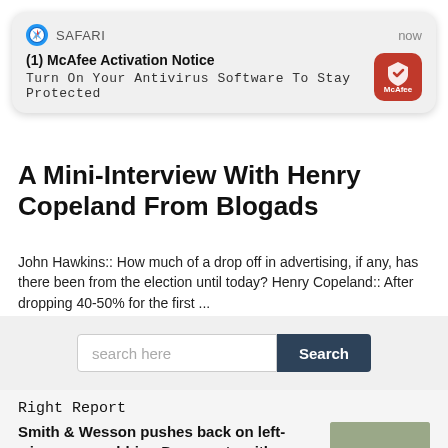[Figure (screenshot): Safari browser push notification for McAfee Activation Notice with text: (1) McAfee Activation Notice - Turn On Your Antivirus Software To Stay Protected, showing McAfee red icon, labeled 'now']
A Mini-Interview With Henry Copeland From Blogads
John Hawkins:: How much of a drop off in advertising, if any, has there been from the election until today? Henry Copeland:: After dropping 40-50% for the first ...
search here
Right Report
Smith & Wesson pushes back on left-wing, gun-grabbing Democrats with issued statement
DC DIRTY LAUNDRY